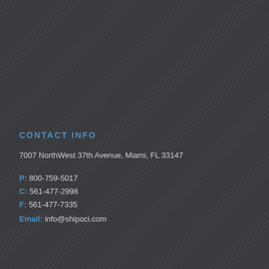CONTACT INFO
7007 NorthWest 37th Avenue, Miami, FL 33147
P: 800-759-5017
C: 561-477-2998
F: 561-477-7335
Email: info@shipoci.com